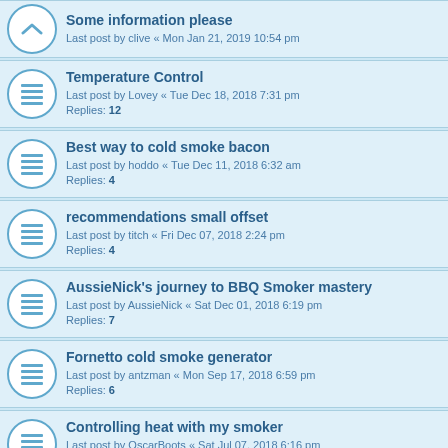Some information please
Last post by clive « Mon Jan 21, 2019 10:54 pm
Temperature Control
Last post by Lovey « Tue Dec 18, 2018 7:31 pm
Replies: 12
Best way to cold smoke bacon
Last post by hoddo « Tue Dec 11, 2018 6:32 am
Replies: 4
recommendations small offset
Last post by titch « Fri Dec 07, 2018 2:24 pm
Replies: 4
AussieNick's journey to BBQ Smoker mastery
Last post by AussieNick « Sat Dec 01, 2018 6:19 pm
Replies: 7
Fornetto cold smoke generator
Last post by antzman « Mon Sep 17, 2018 6:59 pm
Replies: 6
Controlling heat with my smoker
Last post by OscarBoots « Sat Jul 07, 2018 6:16 pm
Replies: 6
Fornetto Razzo 22" or 18"?
Last post by Davo « Sun May 20, 2018 11:12 pm
Replies: 3
off set smoker (NZ)
Last post by Grill Pro Australia « Mon Apr 23, 2018 12:16 pm
Replies: 3
making a smoker